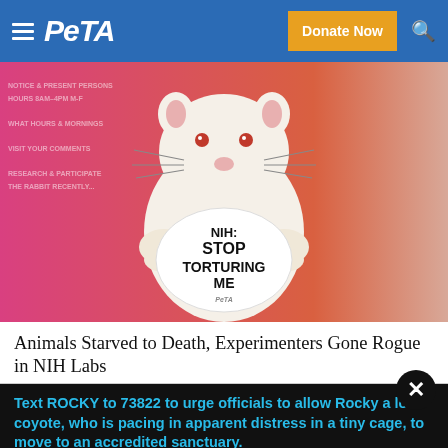PETA — Donate Now
[Figure (photo): A white rat plush/mascot toy holding a circular sign that reads 'NIH: STOP TORTURING ME', displayed against a pink and coral background]
Animals Starved to Death, Experimenters Gone Rogue in NIH Labs
Text ROCKY to 73822 to urge officials to allow Rocky a lone coyote, who is pacing in apparent distress in a tiny cage, to move to an accredited sanctuary.
Terms for automated texts/calls from PETA: http://peta.vg/txt. Text STOP to end, HELP for more info. Msg/data rates may apply. U.S. only.